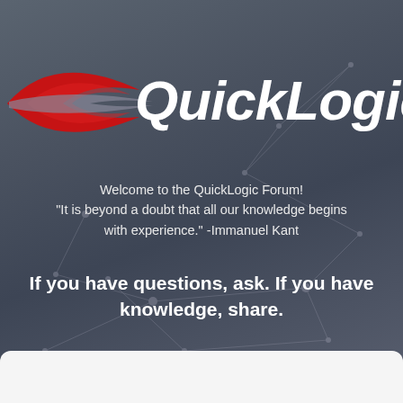[Figure (logo): QuickLogic logo with red swoosh arc and grey swoosh, white bold italic text 'QuickLogic' to the right, on a dark blue-grey background with faint geometric network lines and dots]
Welcome to the QuickLogic Forum!
"It is beyond a doubt that all our knowledge begins with experience." -Immanuel Kant
If you have questions, ask. If you have knowledge, share.